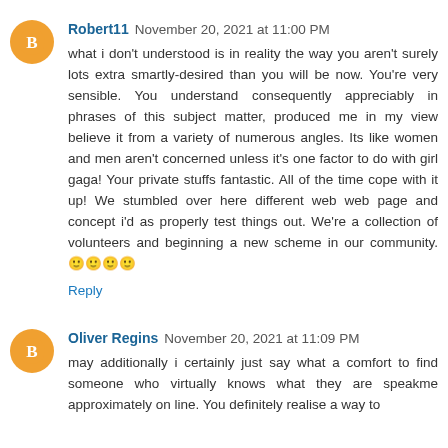Robert11  November 20, 2021 at 11:00 PM
what i don't understood is in reality the way you aren't surely lots extra smartly-desired than you will be now. You're very sensible. You understand consequently appreciably in phrases of this subject matter, produced me in my view believe it from a variety of numerous angles. Its like women and men aren't concerned unless it's one factor to do with girl gaga! Your private stuffs fantastic. All of the time cope with it up! We stumbled over here different web web page and concept i'd as properly test things out. We're a collection of volunteers and beginning a new scheme in our community. 🙂🙂🙂🙂
Reply
Oliver Regins  November 20, 2021 at 11:09 PM
may additionally i certainly just say what a comfort to find someone who virtually knows what they are speakme approximately on line. You definitely realise a way to